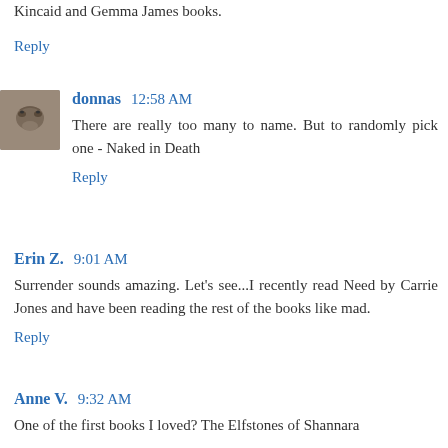Kincaid and Gemma James books.
Reply
donnas 12:58 AM
There are really too many to name. But to randomly pick one - Naked in Death
Reply
Erin Z. 9:01 AM
Surrender sounds amazing. Let's see...I recently read Need by Carrie Jones and have been reading the rest of the books like mad.
Reply
Anne V. 9:32 AM
One of the first books I loved? The Elfstones of Shannara